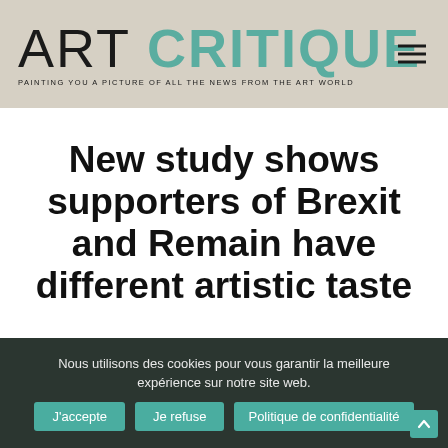ART CRITIQUE — PAINTING YOU A PICTURE OF ALL THE NEWS FROM THE ART WORLD
New study shows supporters of Brexit and Remain have different artistic taste
[Figure (screenshot): Dark/muted painting or photograph visible behind cookie consent overlay]
Nous utilisons des cookies pour vous garantir la meilleure expérience sur notre site web.
J'accepte   Je refuse   Politique de confidentialité